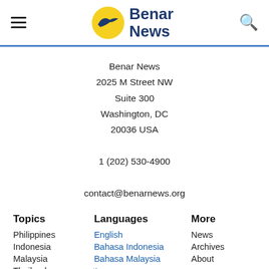[Figure (logo): Benar News logo: yellow circle with bird silhouette, text 'Benar News' in dark blue]
Benar News
2025 M Street NW
Suite 300
Washington, DC
20036 USA

1 (202) 530-4900

contact@benarnews.org
Topics
Languages
More
Philippines
Indonesia
Malaysia
Thailand
Bangladesh
English
Bahasa Indonesia
Bahasa Malaysia
ไทย
News
Archives
About